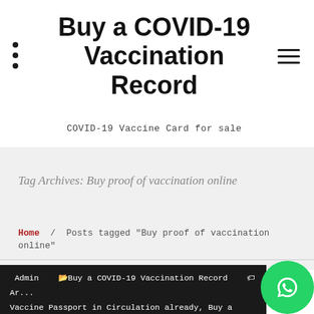Buy a COVID-19 Vaccination Record
COVID-19 Vaccine Card for sale
Tag Archives: Buy proof of vaccination online
Home / Posts tagged "Buy proof of vaccination online"
Admin  Buy a COVID-19 Vaccination Record  Are Vaccine Passport in Circulation already, Buy a COVID-19 Vaccination Record, Buy CDC covid vaccination card, buy